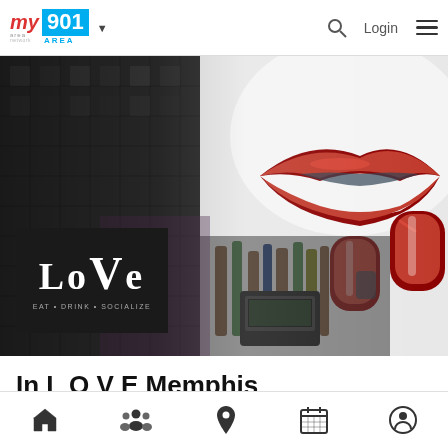my area network | 901 AREA | Login
[Figure (photo): Hero image showing a bar scene with artistic close-up of red lips and red nail polish, with bar bottles in background. Overlaid with LOVE restaurant logo (black box, white text reading LoVE with tagline EAT DRINK SOCIALIZE).]
In L O V E Memphis
Bar $
Bottom navigation bar with home, community, location, calendar, and profile icons